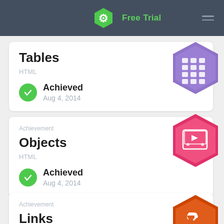Free Trial
Tables
HTML
Achieved
Aug 4, 2014
[Figure (illustration): Purple hexagon badge with grid/table icon]
Achievement
Objects
HTML
Achieved
Aug 4, 2014
[Figure (illustration): Pink/red hexagon badge with video/media icon]
Achievement
Links
HTML